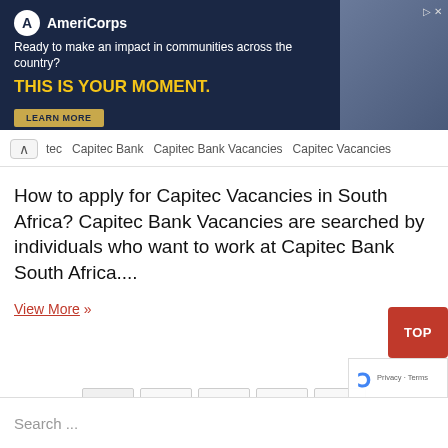[Figure (screenshot): AmeriCorps advertisement banner with dark navy background. Shows AmeriCorps logo, tagline 'Ready to make an impact in communities across the country?' and headline 'THIS IS YOUR MOMENT.' with a LEARN MORE button. Right side shows a photo of people in an office.]
tec  Capitec Bank  Capitec Bank Vacancies  Capitec Vacancies
How to apply for Capitec Vacancies in South Africa? Capitec Bank Vacancies are searched by individuals who want to work at Capitec Bank South Africa....
View More »
[Figure (screenshot): Pagination controls showing buttons: 1, 2, ..., 11, »]
[Figure (screenshot): TOP button (red) and reCAPTCHA widget (Privacy - Terms)]
Search ...